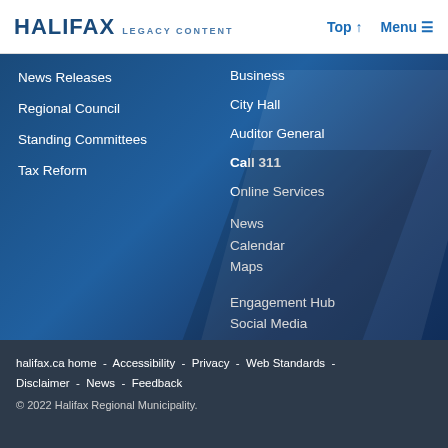HALIFAX LEGACY CONTENT  Top Menu
News Releases
Regional Council
Standing Committees
Tax Reform
Business
City Hall
Auditor General
Call 311
Online Services
News
Calendar
Maps
Engagement Hub
Social Media
Surveys
halifax.ca home  -  Accessibility  -  Privacy  -  Web Standards  -  Disclaimer  -  News  -  Feedback
© 2022 Halifax Regional Municipality.